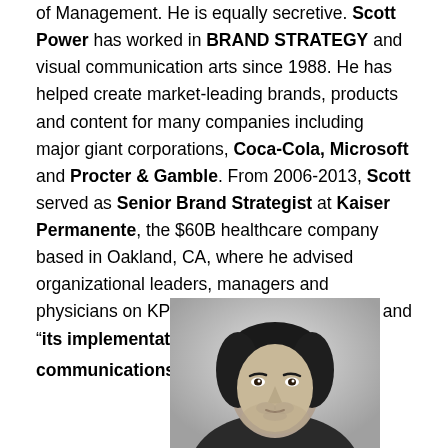of Management. He is equally secretive. Scott Power has worked in BRAND STRATEGY and visual communication arts since 1988. He has helped create market-leading brands, products and content for many companies including major giant corporations, Coca-Cola, Microsoft and Procter & Gamble. From 2006-2013, Scott served as Senior Brand Strategist at Kaiser Permanente, the $60B healthcare company based in Oakland, CA, where he advised organizational leaders, managers and physicians on KP's corporate brand strategy and "its implementation into operations, communications and culture."[4]
[Figure (photo): Black and white headshot portrait of a man with medium-length dark hair, looking directly at the camera, wearing a dark jacket.]